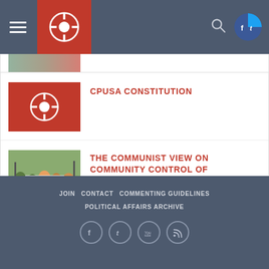CPUSA website navigation bar with hamburger menu, logo, search icon, and social media icons
[Figure (screenshot): Partial thumbnail image at top of content area]
CPUSA CONSTITUTION
THE COMMUNIST VIEW ON COMMUNITY CONTROL OF POLICE
JOIN  CONTACT  COMMENTING GUIDELINES  POLITICAL AFFAIRS ARCHIVE
[Figure (infographic): Social media icons: Facebook, Twitter, YouTube, RSS feed]